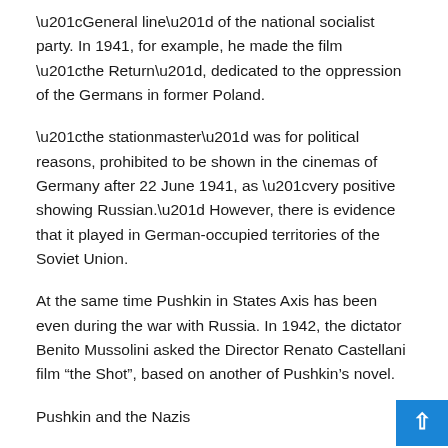“General line” of the national socialist party. In 1941, for example, he made the film “the Return”, dedicated to the oppression of the Germans in former Poland.
“the stationmaster” was for political reasons, prohibited to be shown in the cinemas of Germany after 22 June 1941, as “very positive showing Russian.” However, there is evidence that it played in German-occupied territories of the Soviet Union.
At the same time Pushkin in States Axis has been even during the war with Russia. In 1942, the dictator Benito Mussolini asked the Director Renato Castellani film “the Shot”, based on another of Pushkin’s novel.
Pushkin and the Nazis
Despite screening, the attitude of the Nazis to the memory of Pushkin cannot be called “tragulous”. In 1941 German troops...